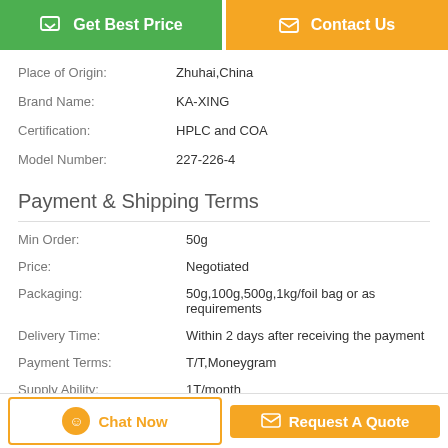[Figure (other): Get Best Price button (green) and Contact Us button (orange) at the top]
| Place of Origin: | Zhuhai,China |
| Brand Name: | KA-XING |
| Certification: | HPLC and COA |
| Model Number: | 227-226-4 |
Payment & Shipping Terms
| Min Order: | 50g |
| Price: | Negotiated |
| Packaging: | 50g,100g,500g,1kg/foil bag or as requirements |
| Delivery Time: | Within 2 days after receiving the payment |
| Payment Terms: | T/T,Moneygram |
| Supply Ability: | 1T/month |
| Type: | anabolic steroid |
[Figure (other): Chat Now button (outlined orange) and Request A Quote button (filled orange) at the bottom]